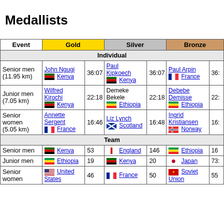Medallists
| Event | Gold |  | Silver |  | Bronze |  |
| --- | --- | --- | --- | --- | --- | --- |
| Individual |  |  |  |  |  |  |
| Senior men (11.95 km) | John Ngugi Kenya | 36:07 | Paul Kipkoech Kenya | 36:07 | Paul Arpin France | 36: |
| Junior men (7.05 km) | Wilfred Kirochi Kenya | 22:18 | Demeke Bekele Ethiopia | 22:18 | Debebe Demisse Ethiopia | 22: |
| Senior women (5.05 km) | Annette Sergent France | 16:46 | Liz Lynch Scotland | 16:48 | Ingrid Kristiansen Norway | 16: |
| Team |  |  |  |  |  |  |
| Senior men | Kenya | 53 | England | 146 | Ethiopia | 16 |
| Junior men | Ethiopia | 19 | Kenya | 20 | Japan | 73 |
| Senior women | United States | 46 | France | 50 | Soviet Union | 55 |